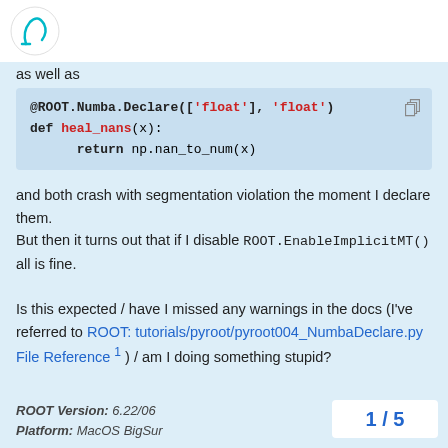[ROOT logo]
as well as
@ROOT.Numba.Declare(['float'], 'float')
def heal_nans(x):
    return np.nan_to_num(x)
and both crash with segmentation violation the moment I declare them.
But then it turns out that if I disable ROOT.EnableImplicitMT() all is fine.

Is this expected / have I missed any warnings in the docs (I've referred to ROOT: tutorials/pyroot/pyroot004_NumbaDeclare.py File Reference 1 ) / am I doing something stupid?

Thanks a lot!
ROOT Version: 6.22/06
Platform: MacOS BigSur
1 / 5